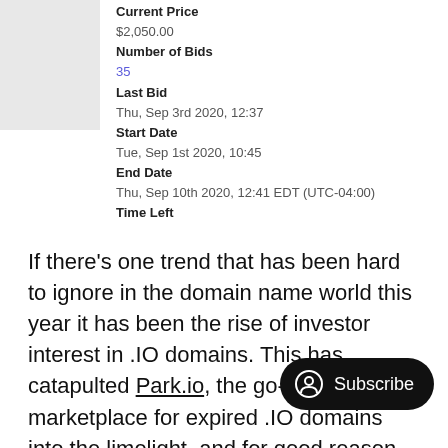| Field | Value |
| --- | --- |
| Current Price | $2,050.00 |
| Number of Bids | 35 |
| Last Bid | Thu, Sep 3rd 2020, 12:37 |
| Start Date | Tue, Sep 1st 2020, 10:45 |
| End Date | Thu, Sep 10th 2020, 12:41 EDT (UTC-04:00) |
| Time Left |  |
If there's one trend that has been hard to ignore in the domain name world this year it has been the rise of investor interest in .IO domains. This has catapulted Park.io, the go-to marketplace for expired .IO domains into the limelight, and for good reason – great .IO names drop all the time, and Park.io get them.
There have been some truly stella... this year like Wiz.io which went for $28,888 or Insurance.io which sold for $22,500. Now I see that